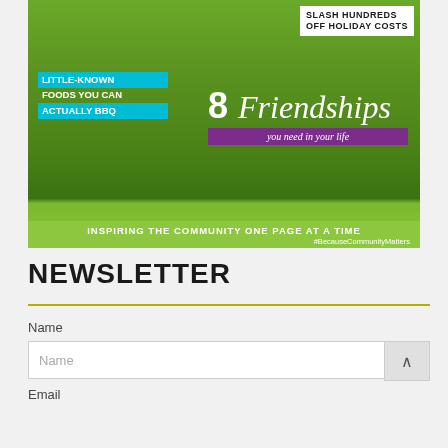[Figure (illustration): Magazine cover showing a person running on grass wearing yellow pants, with text overlays: 'SLASH HUNDREDS OFF HOLIDAY COSTS', 'LITTLE-KNOWN FOODS YOU CAN ACTUALLY BBQ', '8 Friendships you need in your life', 'INSPIRING THE COMMUNITY ONE PAGE AT A TIME', '#BecauseCommunityMatters']
NEWSLETTER
Name
Name
Email